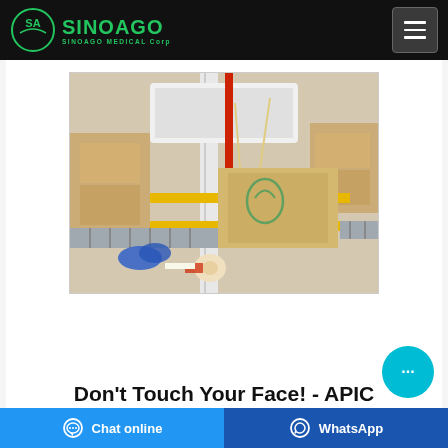SinoAgo SINOAGO MEDICAL Corp
[Figure (photo): Industrial box sealing/packaging machine on a conveyor belt in a warehouse or factory setting. Blue gloves, tape rolls visible in foreground. Cardboard boxes on rollers in background.]
Don't Touch Your Face! - APIC
Chat online | WhatsApp